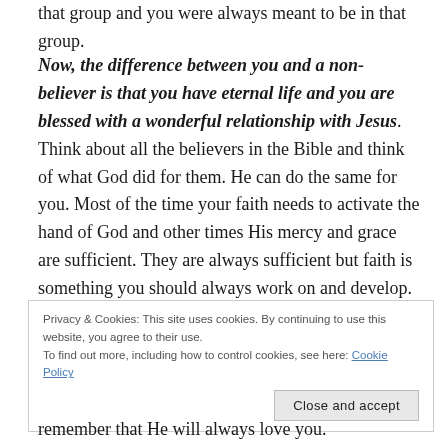that group and you were always meant to be in that group.
Now, the difference between you and a non-believer is that you have eternal life and you are blessed with a wonderful relationship with Jesus. Think about all the believers in the Bible and think of what God did for them. He can do the same for you. Most of the time your faith needs to activate the hand of God and other times His mercy and grace are sufficient. They are always sufficient but faith is something you should always work on and develop. Today I want you
Privacy & Cookies: This site uses cookies. By continuing to use this website, you agree to their use.
To find out more, including how to control cookies, see here: Cookie Policy
remember that He will always love you.